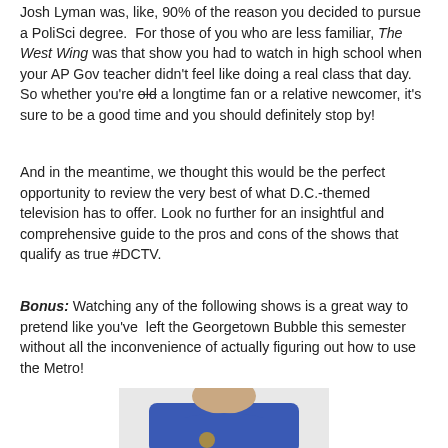Josh Lyman was, like, 90% of the reason you decided to pursue a PoliSci degree. For those of you who are less familiar, The West Wing was that show you had to watch in high school when your AP Gov teacher didn't feel like doing a real class that day. So whether you're old a longtime fan or a relative newcomer, it's sure to be a good time and you should definitely stop by!
And in the meantime, we thought this would be the perfect opportunity to review the very best of what D.C.-themed television has to offer. Look no further for an insightful and comprehensive guide to the pros and cons of the shows that qualify as true #DCTV.
Bonus: Watching any of the following shows is a great way to pretend like you've left the Georgetown Bubble this semester without all the inconvenience of actually figuring out how to use the Metro!
[Figure (photo): A person wearing a blue hoodie with a presidential seal emblem, photographed from chest up with head partially cut off at top]